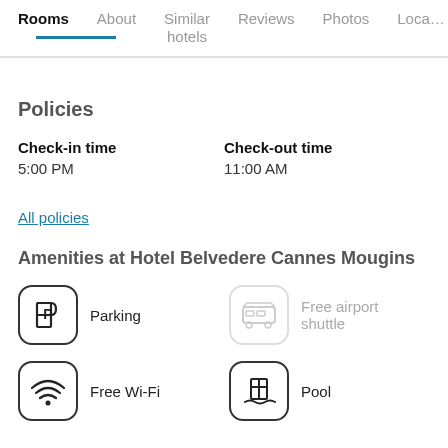Rooms | About | Similar hotels | Reviews | Photos | Loca…
Policies
Check-in time
5:00 PM
Check-out time
11:00 AM
All policies
Amenities at Hotel Belvedere Cannes Mougins
Parking
Free airport shuttle
Free Wi-Fi
Pool